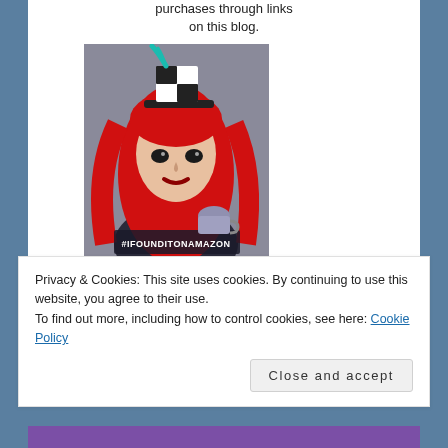purchases through links on this blog.
[Figure (photo): Woman with red hair wearing a small top hat, holding a cup, with text #IFOUNDITONAMAZON on her shirt]
GEEK MAMAS SOCIAL LINKS
Privacy & Cookies: This site uses cookies. By continuing to use this website, you agree to their use.
To find out more, including how to control cookies, see here: Cookie Policy
Close and accept